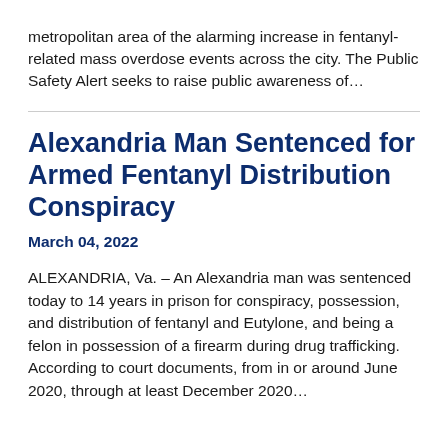metropolitan area of the alarming increase in fentanyl-related mass overdose events across the city. The Public Safety Alert seeks to raise public awareness of…
Alexandria Man Sentenced for Armed Fentanyl Distribution Conspiracy
March 04, 2022
ALEXANDRIA, Va. – An Alexandria man was sentenced today to 14 years in prison for conspiracy, possession, and distribution of fentanyl and Eutylone, and being a felon in possession of a firearm during drug trafficking. According to court documents, from in or around June 2020, through at least December 2020…